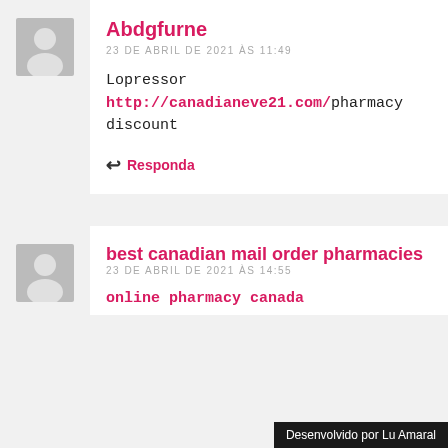Abdgfurne
23 DE ABRIL DE 2021 ÀS 11:49
Lopressor http://canadianeve21.com/ pharmacy discount
Responda
best canadian mail order pharmacies
23 DE ABRIL DE 2021 ÀS 14:55
online pharmacy canada
Desenvolvido por Lu Amaral